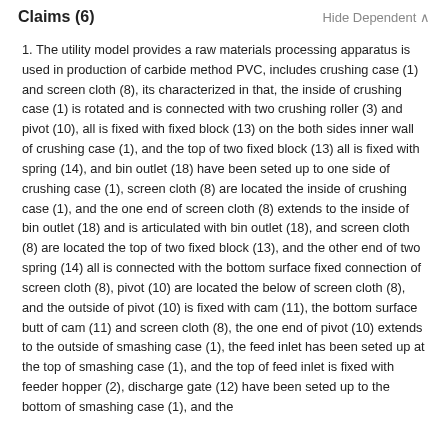Claims (6)   Hide Dependent
1. The utility model provides a raw materials processing apparatus is used in production of carbide method PVC, includes crushing case (1) and screen cloth (8), its characterized in that, the inside of crushing case (1) is rotated and is connected with two crushing roller (3) and pivot (10), all is fixed with fixed block (13) on the both sides inner wall of crushing case (1), and the top of two fixed block (13) all is fixed with spring (14), and bin outlet (18) have been seted up to one side of crushing case (1), screen cloth (8) are located the inside of crushing case (1), and the one end of screen cloth (8) extends to the inside of bin outlet (18) and is articulated with bin outlet (18), and screen cloth (8) are located the top of two fixed block (13), and the other end of two spring (14) all is connected with the bottom surface fixed connection of screen cloth (8), pivot (10) are located the below of screen cloth (8), and the outside of pivot (10) is fixed with cam (11), the bottom surface butt of cam (11) and screen cloth (8), the one end of pivot (10) extends to the outside of smashing case (1), the feed inlet has been seted up at the top of smashing case (1), and the top of feed inlet is fixed with feeder hopper (2), discharge gate (12) have been seted up to the bottom of smashing case (1), and the